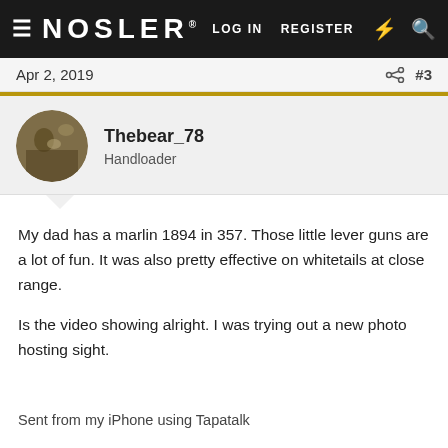≡ NOSLER® LOG IN  REGISTER  ⚡ 🔍
Apr 2, 2019  #3
Thebear_78
Handloader
My dad has a marlin 1894 in 357. Those little lever guns are a lot of fun. It was also pretty effective on whitetails at close range.
Is the video showing alright. I was trying out a new photo hosting sight.
Sent from my iPhone using Tapatalk